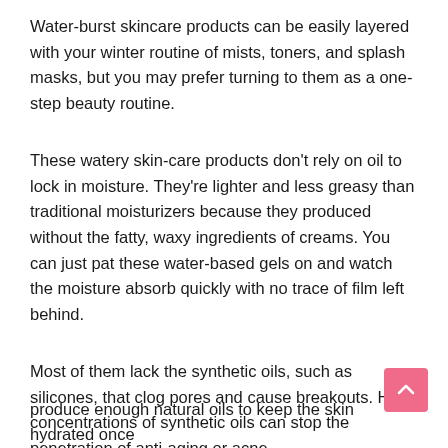Water-burst skincare products can be easily layered with your winter routine of mists, toners, and splash masks, but you may prefer turning to them as a one-step beauty routine.
These watery skin-care products don’t rely on oil to lock in moisture. They’re lighter and less greasy than traditional moisturizers because they produced without the fatty, waxy ingredients of creams. You can just pat these water-based gels on and watch the moisture absorb quickly with no trace of film left behind.
Most of them lack the synthetic oils, such as silicones, that clog pores and cause breakouts. High concentrations of synthetic oils can stop the penetration of anti-aging or acne-
produce enough natural oils to keep the skin hydrated once